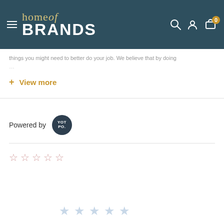[Figure (logo): Home of Brands navigation bar with hamburger menu, logo, search icon, user icon, and cart icon with badge 0]
things you might need to better do your job. We believe that by doing...
+ View more
Powered by YOTPO
[Figure (other): Five empty star rating icons (outline style, reddish color)]
[Figure (other): Five light blue star icons at bottom of page]